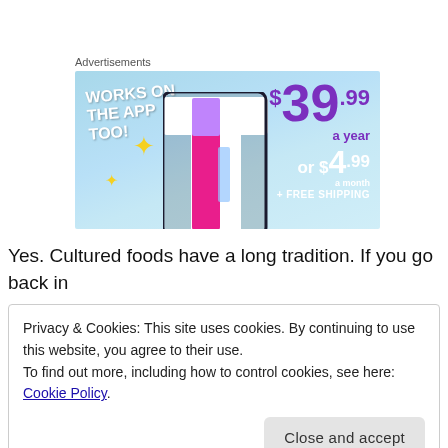Advertisements
[Figure (illustration): Advertisement banner for a subscription service showing 'Works on the app too!' text, a Tumblr-style logo, and pricing: $39.99 a year or $4.99 a month + Free Shipping, on a light blue sky background with sparkle decorations.]
Yes. Cultured foods have a long tradition. If you go back in
Privacy & Cookies: This site uses cookies. By continuing to use this website, you agree to their use.
To find out more, including how to control cookies, see here: Cookie Policy
that the gut flora can shift very quickly depending on your